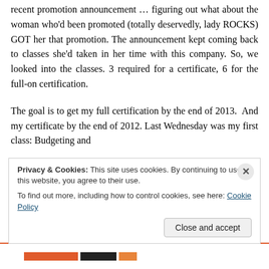recent promotion announcement … figuring out what about the woman who'd been promoted (totally deservedly, lady ROCKS) GOT her that promotion. The announcement kept coming back to classes she'd taken in her time with this company. So, we looked into the classes. 3 required for a certificate, 6 for the full-on certification.
The goal is to get my full certification by the end of 2013. And my certificate by the end of 2012. Last Wednesday was my first class: Budgeting and
Privacy & Cookies: This site uses cookies. By continuing to use this website, you agree to their use.
To find out more, including how to control cookies, see here: Cookie Policy